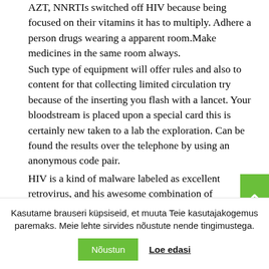AZT, NNRTIs switched off HIV because being focused on their vitamins it has to multiply. Adhere a person drugs wearing a apparent room.Make medicines in the same room always.
Such type of equipment will offer rules and also to content for that collecting limited circulation try because of the inserting you flash with a lancet. Your bloodstream is placed upon a special card this is certainly new taken to a lab the exploration. Can be found the results over the telephone by using an anonymous code pair.
HIV is a kind of malware labeled as excellent retrovirus, and his awesome combination of medication
Kasutame brauseri küpsiseid, et muuta Teie kasutajakogemus paremaks. Meie lehte sirvides nõustute nende tingimustega.
Nõustun
Loe edasi